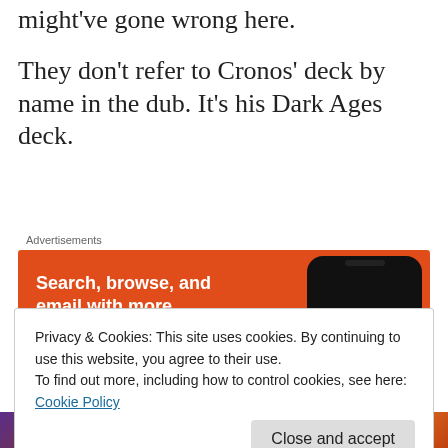might've gone wrong here.
They don't refer to Cronos' deck by name in the dub. It's his Dark Ages deck.
[Figure (screenshot): DuckDuckGo advertisement banner with orange background showing 'Search, browse, and email with more privacy. All in One Free App' text with a phone and duck logo.]
As expected, the commercial break
Privacy & Cookies: This site uses cookies. By continuing to use this website, you agree to their use.
To find out more, including how to control cookies, see here: Cookie Policy
[Figure (photo): Partial image at bottom showing colorful illustrated/animated characters.]